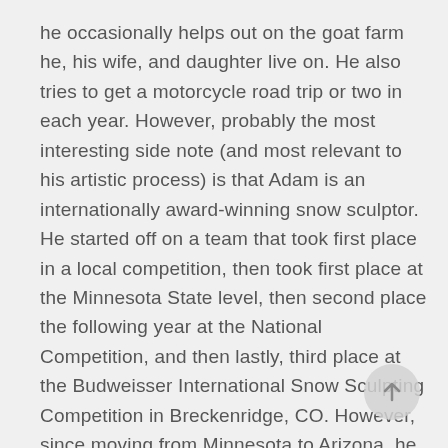he occasionally helps out on the goat farm he, his wife, and daughter live on. He also tries to get a motorcycle road trip or two in each year. However, probably the most interesting side note (and most relevant to his artistic process) is that Adam is an internationally award-winning snow sculptor. He started off on a team that took first place in a local competition, then took first place at the Minnesota State level, then second place the following year at the National Competition, and then lastly, third place at the Budweisser International Snow Sculpting Competition in Breckenridge, CO. However, since moving from Minnesota to Arizona, he is now limited to